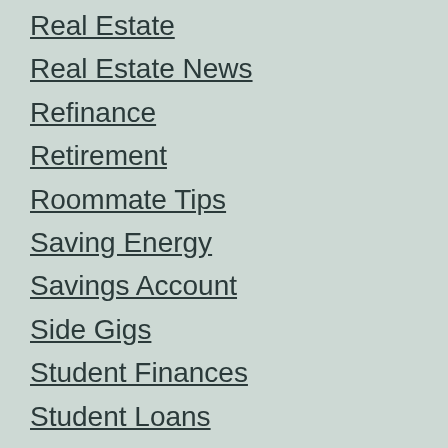Real Estate
Real Estate News
Refinance
Retirement
Roommate Tips
Saving Energy
Savings Account
Side Gigs
Student Finances
Student Loans
Tax Solution
Taxes
Temporary Tents Ideas
Taxes Basics